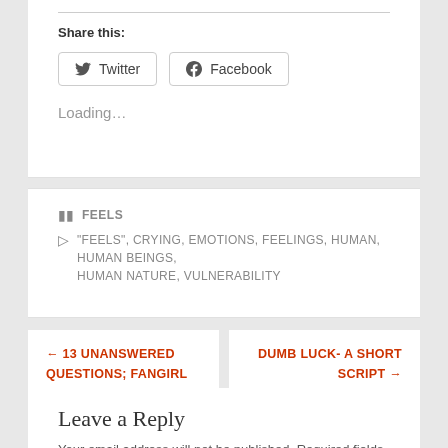Share this:
Twitter Facebook
Loading…
FEELS
"FEELS", CRYING, EMOTIONS, FEELINGS, HUMAN, HUMAN BEINGS, HUMAN NATURE, VULNERABILITY
← 13 UNANSWERED QUESTIONS; FANGIRL LIFE
DUMB LUCK- A SHORT SCRIPT →
Leave a Reply
Your email address will not be published. Required fields